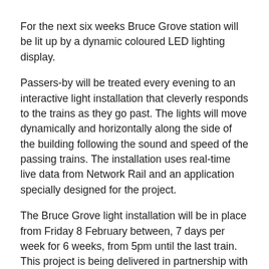For the next six weeks Bruce Grove station will be lit up by a dynamic coloured LED lighting display.
Passers-by will be treated every evening to an interactive light installation that cleverly responds to the trains as they go past. The lights will move dynamically and horizontally along the side of the building following the sound and speed of the passing trains. The installation uses real-time live data from Network Rail and an application specially designed for the project.
The Bruce Grove light installation will be in place from Friday 8 February between, 7 days per week for 6 weeks, from 5pm until the last train. This project is being delivered in partnership with Arriva Rail London and Network Rail.
The station lighting project is just one of many planned